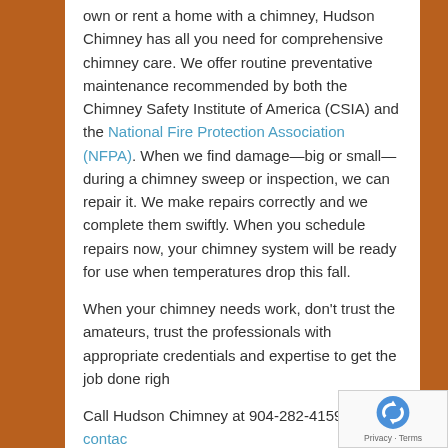own or rent a home with a chimney, Hudson Chimney has all you need for comprehensive chimney care. We offer routine preventative maintenance recommended by both the Chimney Safety Institute of America (CSIA) and the National Fire Protection Association (NFPA). When we find damage—big or small—during a chimney sweep or inspection, we can repair it. We make repairs correctly and we complete them swiftly. When you schedule repairs now, your chimney system will be ready for use when temperatures drop this fall.
When your chimney needs work, don't trust the amateurs, trust the professionals with appropriate credentials and expertise to get the job done right.
Call Hudson Chimney at 904-282-4159 or contact us.